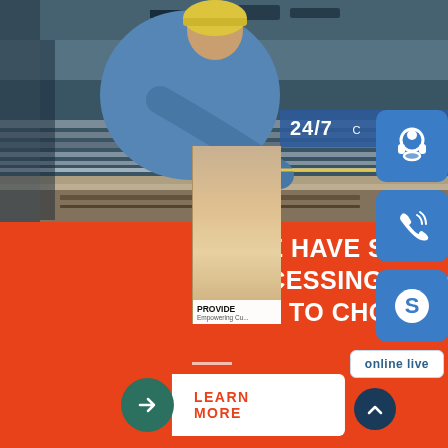[Figure (photo): Industrial worker in blue uniform and hard hat leaning over metal sheets/steel plates on machinery in a factory setting]
[Figure (infographic): 24/7 customer service panel with headset icon, phone icon, Skype icon, a customer service woman photo, PROVIDE Empowering Customers text, and online live button]
WE HAVE SOME METAL PROCESSING CAPACITY TO CHOOSE
[Figure (other): White horizontal divider line]
LEARN MORE